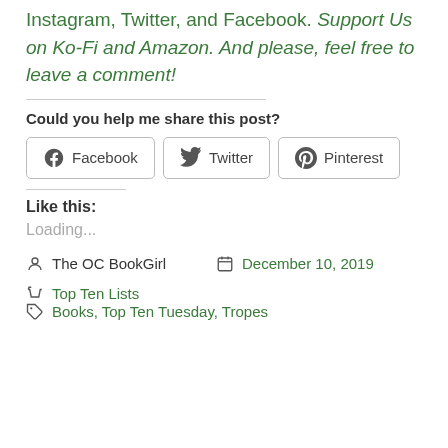Instagram, Twitter, and Facebook. Support Us on Ko-Fi and Amazon. And please, feel free to leave a comment!
Could you help me share this post?
[Figure (other): Social share buttons: Facebook, Twitter, Pinterest]
Like this:
Loading...
The OC BookGirl   December 10, 2019
Top Ten Lists   Books, Top Ten Tuesday, Tropes